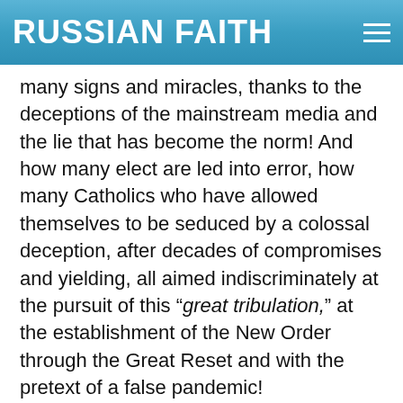RUSSIAN FAITH
many signs and miracles, thanks to the deceptions of the mainstream media and the lie that has become the norm! And how many elect are led into error, how many Catholics who have allowed themselves to be seduced by a colossal deception, after decades of compromises and yielding, all aimed indiscriminately at the pursuit of this “great tribulation,” at the establishment of the New Order through the Great Reset and with the pretext of a false pandemic!
But the wonders worked by Satan do not last, just as the immunity of the vaccine does not last by which they want to decimate the global population, subjecting the survivors to an infernal